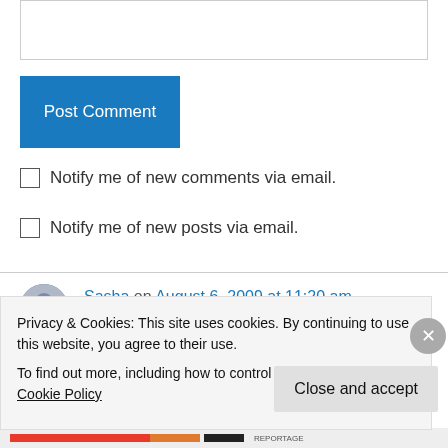[Figure (screenshot): Text input area (textarea) at the top of the page]
[Figure (screenshot): Blue 'Post Comment' button]
Notify me of new comments via email.
Notify me of new posts via email.
Sasha on August 6, 2009 at 11:20 am
Aww, shucks... Thank you!
Privacy & Cookies: This site uses cookies. By continuing to use this website, you agree to their use.
To find out more, including how to control cookies, see here: Cookie Policy
Close and accept